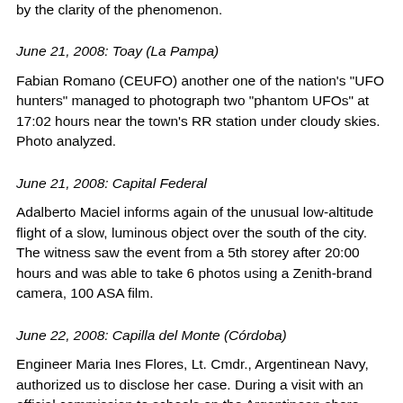by the clarity of the phenomenon.
June 21, 2008: Toay (La Pampa)
Fabian Romano (CEUFO) another one of the nation's "UFO hunters" managed to photograph two "phantom UFOs" at 17:02 hours near the town's RR station under cloudy skies. Photo analyzed.
June 21, 2008: Capital Federal
Adalberto Maciel informs again of the unusual low-altitude flight of a slow, luminous object over the south of the city. The witness saw the event from a 5th storey after 20:00 hours and was able to take 6 photos using a Zenith-brand camera, 100 ASA film.
June 22, 2008: Capilla del Monte (Córdoba)
Engineer Maria Ines Flores, Lt. Cmdr., Argentinean Navy, authorized us to disclose her case. During a visit with an official commission to schools on the Argentinean shore accompanied by the first and state bureau and at two and his